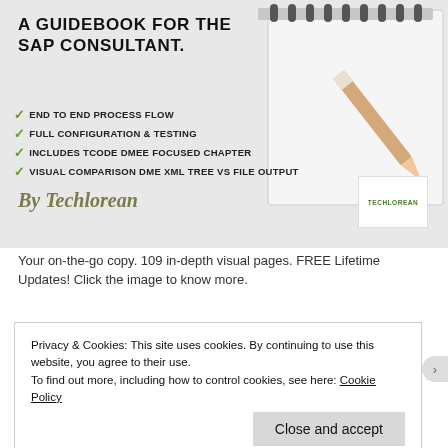[Figure (illustration): Book cover image on light grey background showing a spiral notebook with a pencil and the title 'A Guidebook for the SAP Consultant' with checklist items and 'By Techlorean' branding with logo]
Your on-the-go copy. 109 in-depth visual pages. FREE Lifetime Updates! Click the image to know more.
Privacy & Cookies: This site uses cookies. By continuing to use this website, you agree to their use.
To find out more, including how to control cookies, see here: Cookie Policy
Close and accept